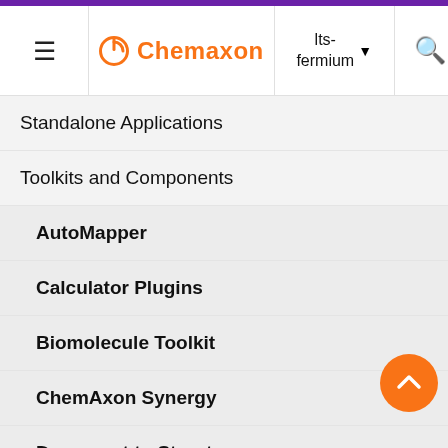Chemaxon — lts-fermium
Standalone Applications
Toolkits and Components
AutoMapper
Calculator Plugins
Biomolecule Toolkit
ChemAxon Synergy
Document to Structure
JChem Base
JChem Choral